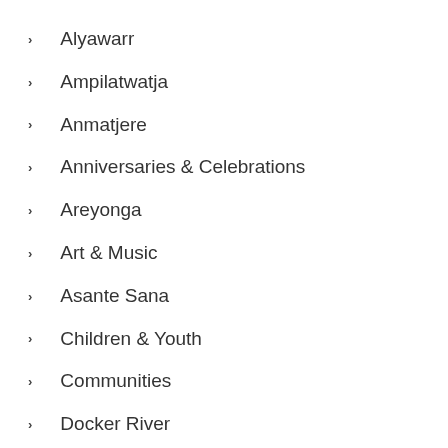Alyawarr
Ampilatwatja
Anmatjere
Anniversaries & Celebrations
Areyonga
Art & Music
Asante Sana
Children & Youth
Communities
Docker River
Engawala
Haasts Bluff